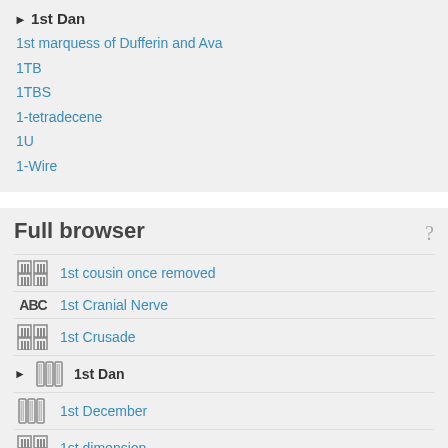▶ 1st Dan
1st marquess of Dufferin and Ava
1TB
1TBS
1-tetradecene
1U
1-Wire
Full browser
1st cousin once removed
1st Cranial Nerve
1st Crusade
1st Dan
1st December
1st dimension
1st dimension